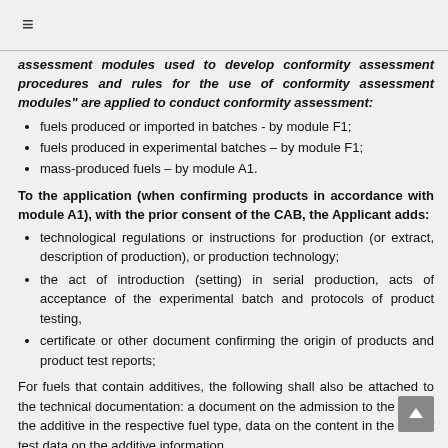≡
assessment modules used to develop conformity assessment procedures and rules for the use of conformity assessment modules" are applied to conduct conformity assessment:
fuels produced or imported in batches - by module F1;
fuels produced in experimental batches – by module F1;
mass-produced fuels – by module A1.
To the application (when confirming products in accordance with module A1), with the prior consent of the CAB, the Applicant adds:
technological regulations or instructions for production (or extract, description of production), or production technology;
the act of introduction (setting) in serial production, acts of acceptance of the experimental batch and protocols of product testing,
certificate or other document confirming the origin of products and product test reports;
For fuels that contain additives, the following shall also be attached to the technical documentation: a document on the admission to the use of the additive in the respective fuel type, data on the content in the fuel of test data on the additive information...